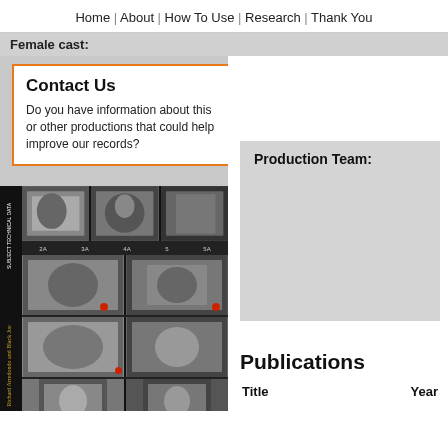Home | About | How To Use | Research | Thank You
Female cast:
Contact Us
Do you have information about this or other productions that could help improve our records?
[Figure (photo): Black and white film contact sheet showing multiple frames of people, including boxing and portrait shots]
Production Team:
Publications
| Title | Year |
| --- | --- |